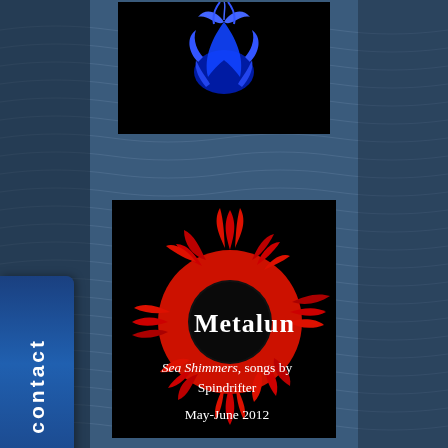[Figure (illustration): Black background with blue flame/splash graphic at top center]
[Figure (logo): Metaluna logo: black background with red sun/flame ring graphic and white text 'Metaluna' in stylized font]
Sea Shimmers, songs by Spindrifter
May-June 2012
contact